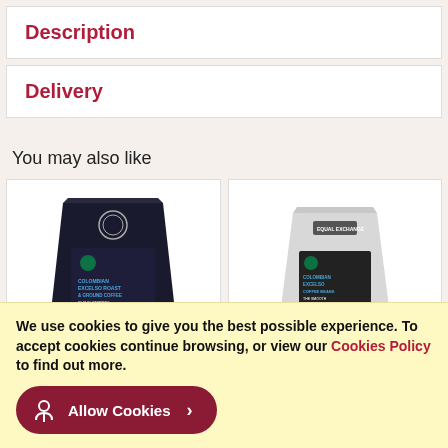Description
Delivery
You may also like
[Figure (photo): Black coffee bag - Colombian Excelso Roast & Ground Coffee, Fairtrade certified]
[Figure (photo): White coffee bag - Colombian Excelso Coffee Beans, Fairtrade certified]
We use cookies to give you the best possible experience. To accept cookies continue browsing, or view our Cookies Policy to find out more.
Allow Cookies